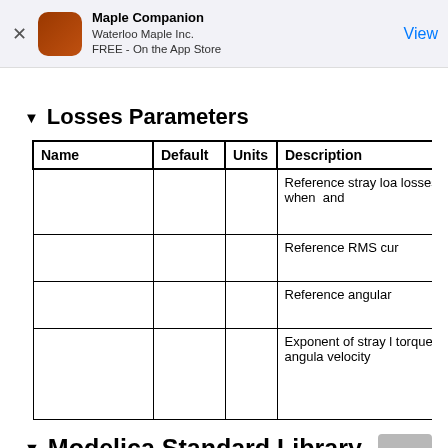Maple Companion
Waterloo Maple Inc.
FREE - On the App Store
▼ Losses Parameters
| Name | Default | Units | Description |
| --- | --- | --- | --- |
|  |  |  | Reference stray losses when  and |
|  |  |  | Reference RMS cur |
|  |  |  | Reference angular |
|  |  |  | Exponent of stray l torque w.r.t. angula velocity |
▼ Modelica Standard Library
The component described in this topic is from the Mode view the original documentation, which includes author